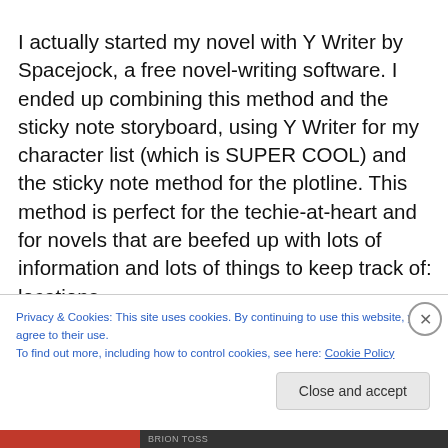I actually started my novel with Y Writer by Spacejock, a free novel-writing software. I ended up combining this method and the sticky note storyboard, using Y Writer for my character list (which is SUPER COOL) and the sticky note method for the plotline. This method is perfect for the techie-at-heart and for novels that are beefed up with lots of information and lots of things to keep track of: locations,
Privacy & Cookies: This site uses cookies. By continuing to use this website, you agree to their use.
To find out more, including how to control cookies, see here: Cookie Policy
Close and accept